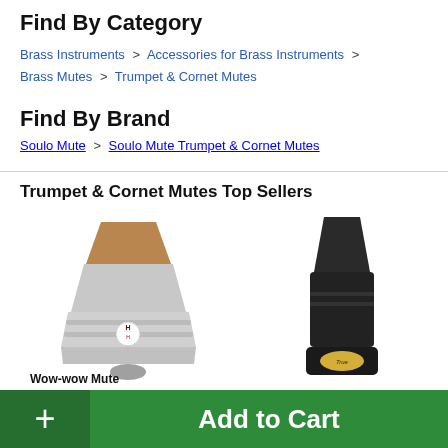Find By Category
Brass Instruments > Accessories for Brass Instruments > Brass Mutes > Trumpet & Cornet Mutes
Find By Brand
Soulo Mute > Soulo Mute Trumpet & Cornet Mutes
Trumpet & Cornet Mutes Top Sellers
[Figure (photo): Aluminum practice mute (Humes & Berg style) with cork top and red logo badge]
[Figure (photo): Black straight trumpet mute with gold logo badge]
Wow-wow Mute
+ Add to Cart